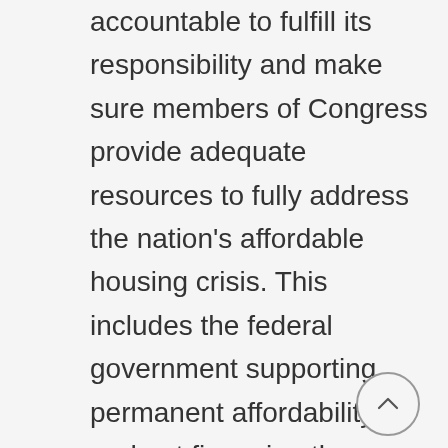accountable to fulfill its responsibility and make sure members of Congress provide adequate resources to fully address the nation's affordable housing crisis. This includes the federal government supporting permanent affordability and not financing the corporate takeover of our housing markets. But we also remember that many of the decisions that have driven the housing and displacement crisis over the past decades have been made at the local and state le...